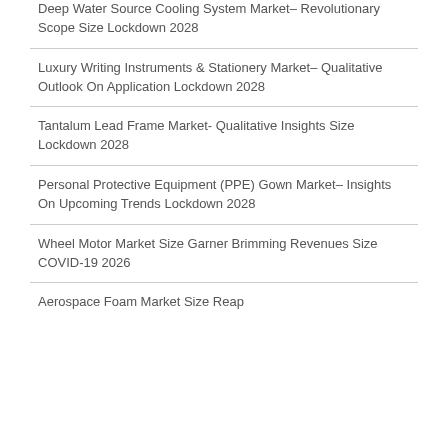Deep Water Source Cooling System Market– Revolutionary Scope Size Lockdown 2028
Luxury Writing Instruments & Stationery Market– Qualitative Outlook On Application Lockdown 2028
Tantalum Lead Frame Market- Qualitative Insights Size Lockdown 2028
Personal Protective Equipment (PPE) Gown Market– Insights On Upcoming Trends Lockdown 2028
Wheel Motor Market Size Garner Brimming Revenues Size COVID-19 2026
Aerospace Foam Market Size Reap